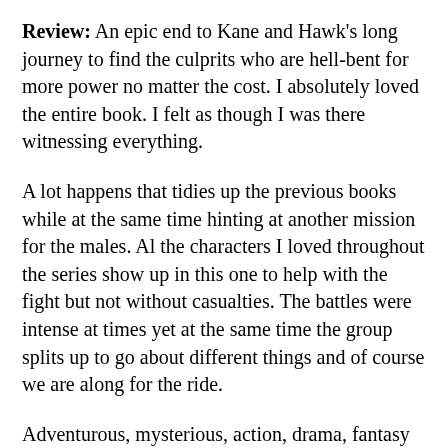Review: An epic end to Kane and Hawk's long journey to find the culprits who are hell-bent for more power no matter the cost. I absolutely loved the entire book. I felt as though I was there witnessing everything.
A lot happens that tidies up the previous books while at the same time hinting at another mission for the males. Al the characters I loved throughout the series show up in this one to help with the fight but not without casualties. The battles were intense at times yet at the same time the group splits up to go about different things and of course we are along for the ride.
Adventurous, mysterious, action, drama, fantasy and a whole slew of other genres are all throughout this wonderfully written story. I could not stop